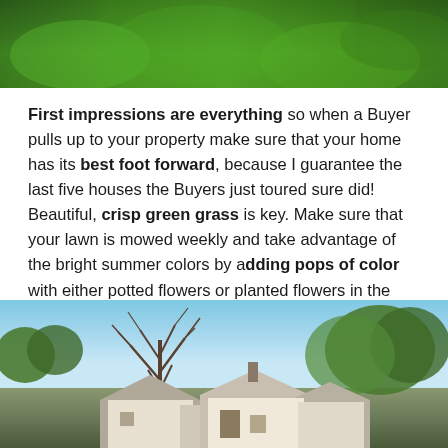[Figure (photo): Green grass lawn photo, cropped top portion showing lush green grass]
First impressions are everything so when a Buyer pulls up to your property make sure that your home has its best foot forward, because I guarantee the last five houses the Buyers just toured sure did! Beautiful, crisp green grass is key. Make sure that your lawn is mowed weekly and take advantage of the bright summer colors by adding pops of color with either potted flowers or planted flowers in the ground – their little faces are a cheerful way to greet the Buyers as they arrive! Also, make sure your front door's welcome mat is new and fresh and not tattered.
[Figure (photo): Exterior photo of a house with bare tree branches in the foreground and green trees in background against blue sky]